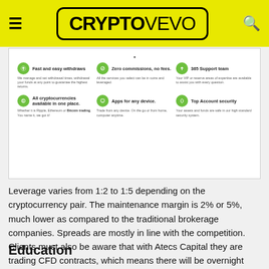CRYPTOVEVO
[Figure (screenshot): Screenshot of a trading platform features section showing 6 feature boxes: Fast and easy withdraws, Zero commissions no fees, 365 Support team, All cryptocurrencies available in one place, Apps for any device, Top Account security — each with a green circular icon and short description text.]
Leverage varies from 1:2 to 1:5 depending on the cryptocurrency pair. The maintenance margin is 2% or 5%, much lower as compared to the traditional brokerage companies. Spreads are mostly in line with the competition. Clients must also be aware that with Atecs Capital they are trading CFD contracts, which means there will be overnight swaps involved.
Education